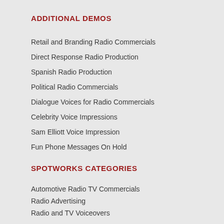ADDITIONAL DEMOS
Retail and Branding Radio Commercials
Direct Response Radio Production
Spanish Radio Production
Political Radio Commercials
Dialogue Voices for Radio Commercials
Celebrity Voice Impressions
Sam Elliott Voice Impression
Fun Phone Messages On Hold
SPOTWORKS CATEGORIES
Automotive Radio TV Commercials
Radio Advertising
Radio and TV Voiceovers
Radio Commercial Production
Radio Copywriting
Radio Production